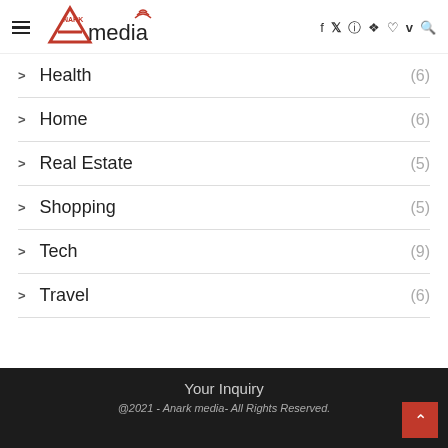Anark media [logo] — navigation header with hamburger menu and social icons
Health (6)
Home (6)
Real Estate (5)
Shopping (5)
Tech (9)
Travel (6)
Your Inquiry
@2021 - Anark media- All Rights Reserved.